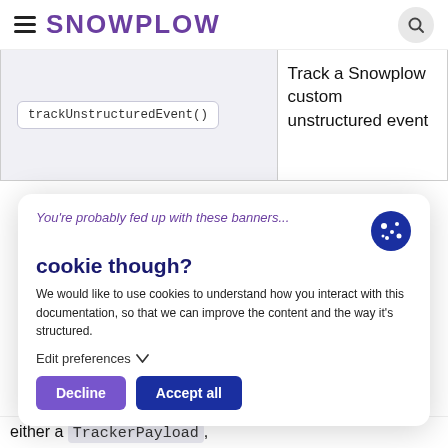SNOWPLOW
| Function | Description |
| --- | --- |
| trackUnstructuredEvent() | Track a Snowplow custom unstructured event |
You're probably fed up with these banners...
cookie though?
We would like to use cookies to understand how you interact with this documentation, so that we can improve the content and the way it's structured.
Edit preferences
Decline
Accept all
either a TrackerPayload,